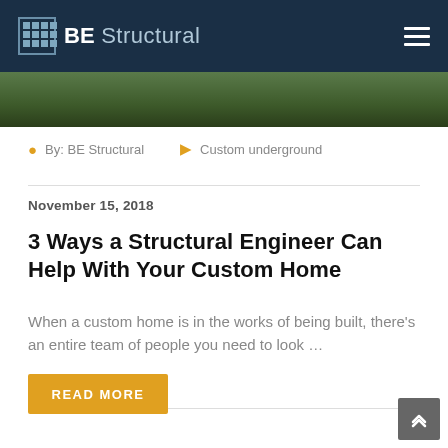BE Structural
[Figure (photo): Aerial/landscape photo strip showing green outdoor scene]
By: BE Structural   Custom underground
November 15, 2018
3 Ways a Structural Engineer Can Help With Your Custom Home
When a custom home is in the works of being built, there's an entire team of people you need to look …
READ MORE